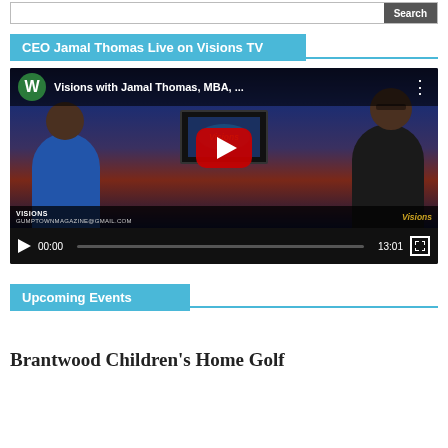Search
CEO Jamal Thomas Live on Visions TV
[Figure (screenshot): YouTube video embed showing 'Visions with Jamal Thomas, MBA, ...' with two men seated at a TV studio desk with a Visions TV monitor in the background. Video duration 13:01, progress at 00:00.]
Upcoming Events
Brantwood Children's Home Golf